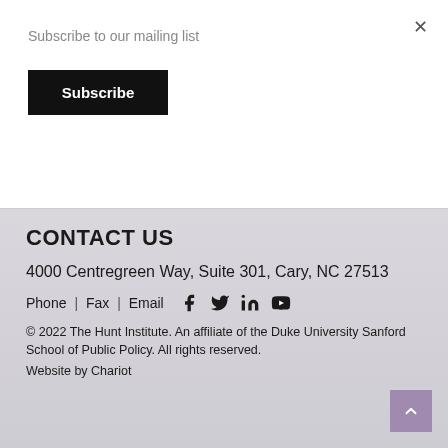Subscribe to our mailing list
Subscribe
CONTACT US
4000 Centregreen Way, Suite 301, Cary, NC 27513
Phone | Fax | Email
© 2022 The Hunt Institute. An affiliate of the Duke University Sanford School of Public Policy. All rights reserved.
Website by Chariot